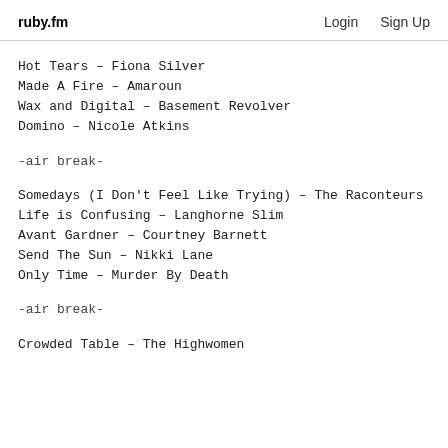ruby.fm   Login   Sign Up
Hot Tears – Fiona Silver
Made A Fire – Amaroun
Wax and Digital – Basement Revolver
Domino – Nicole Atkins
-air break-
Somedays (I Don't Feel Like Trying) – The Raconteurs
Life is Confusing – Langhorne Slim
Avant Gardner – Courtney Barnett
Send The Sun – Nikki Lane
Only Time – Murder By Death
-air break-
Crowded Table – The Highwomen